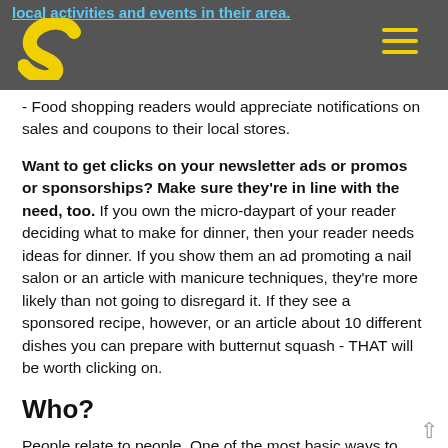local activities and events in their area.
- Food shopping readers would appreciate notifications on sales and coupons to their local stores.
Want to get clicks on your newsletter ads or promos or sponsorships? Make sure they're in line with the need, too. If you own the micro-daypart of your reader deciding what to make for dinner, then your reader needs ideas for dinner. If you show them an ad promoting a nail salon or an article with manicure techniques, they're more likely than not going to disregard it. If they see a sponsored recipe, however, or an article about 10 different dishes you can prepare with butternut squash - THAT will be worth clicking on.
Who?
People relate to people. One of the most basic ways to encourage engagement is to have your newsletter come from "name-of-editor@yourpublication.com." Whether or not they